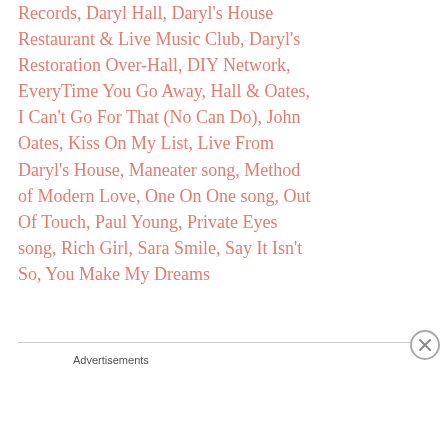Records, Daryl Hall, Daryl's House Restaurant & Live Music Club, Daryl's Restoration Over-Hall, DIY Network, EveryTime You Go Away, Hall & Oates, I Can't Go For That (No Can Do), John Oates, Kiss On My List, Live From Daryl's House, Maneater song, Method of Modern Love, One On One song, Out Of Touch, Paul Young, Private Eyes song, Rich Girl, Sara Smile, Say It Isn't So, You Make My Dreams
[Figure (other): Advertisement banner: 'Launch your online course with WordPress' with Learn More button, dark navy background with teal text]